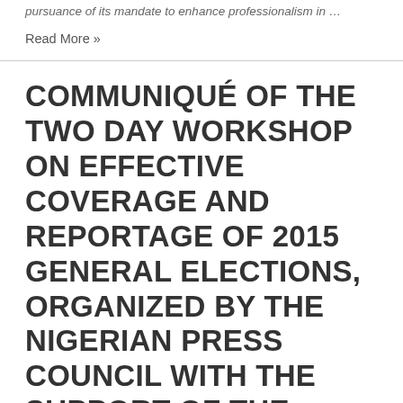pursuance of its mandate to enhance professionalism in…
Read More »
COMMUNIQUÉ OF THE TWO DAY WORKSHOP ON EFFECTIVE COVERAGE AND REPORTAGE OF 2015 GENERAL ELECTIONS, ORGANIZED BY THE NIGERIAN PRESS COUNCIL WITH THE SUPPORT OF THE DEMOCRATIC